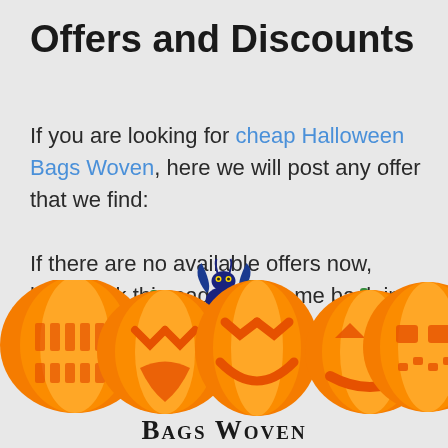Offers and Discounts
If you are looking for cheap Halloween Bags Woven, here we will post any offer that we find:
If there are no available offers now, bookmark this page and come back in a couple of days. Price and availability change quickly.
[Figure (illustration): A row of five carved Halloween jack-o-lantern pumpkins with a blue dragon figure above the middle pumpkin, and 'Bags Woven' text in small-caps at the bottom]